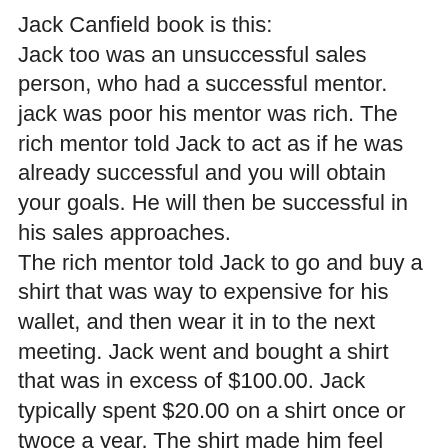Jack Canfield book is this: Jack too was an unsuccessful sales person, who had a successful mentor. jack was poor his mentor was rich. The rich mentor told Jack to act as if he was already successful and you will obtain your goals. He will then be successful in his sales approaches. The rich mentor told Jack to go and buy a shirt that was way to expensive for his wallet, and then wear it in to the next meeting. Jack went and bought a shirt that was in excess of $100.00. Jack typically spent $20.00 on a shirt once or twoce a year. The shirt made him feel successful and worthy of selling his product to the people in front of him.
What did the shirt do? It put Jack's mind in a different state. A state that he was successful and in turn, made his presentation and sales pitch take on a different feel. Nobody in that room knew how much Jack had spent on that shirt, nor did they care, but Jack did and that was a difference maker. Jack came off positive